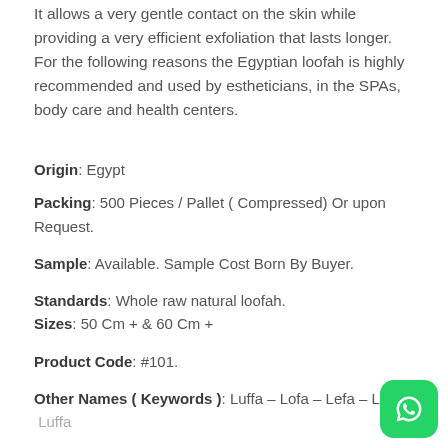It allows a very gentle contact on the skin while providing a very efficient exfoliation that lasts longer. For the following reasons the Egyptian loofah is highly recommended and used by estheticians, in the SPAs, body care and health centers.
Origin: Egypt
Packing:  500 Pieces / Pallet ( Compressed) Or upon Request.
Sample: Available. Sample Cost Born By Buyer.
Standards: Whole raw natural loofah.
Sizes: 50 Cm +  & 60 Cm +
Product Code: #101.
Other Names ( Keywords ): Luffa – Lofa – Lefa – Loof – Luffa
[Figure (logo): WhatsApp logo icon green background]